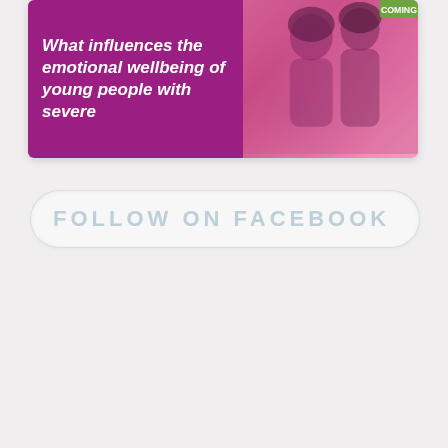[Figure (illustration): A card/banner with a purple background on the left containing italic bold white text 'What influences the emotional wellbeing of young people with severe' and a pink-toned photo of people (students/teacher) on the right side.]
FOLLOW ON FACEBOOK